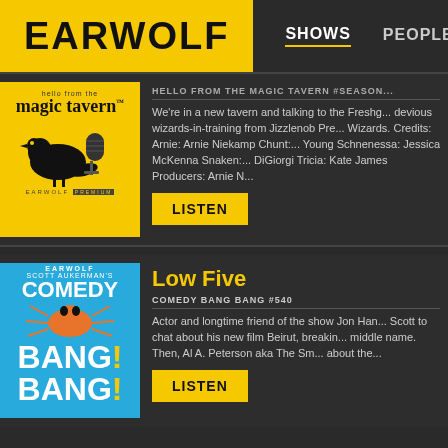EARWOLF  SHOWS  PEOPLE
[Figure (illustration): Hello From the Magic Tavern podcast cover art - yellow background with black crow and microphone, text 'magic tavern']
HELLO FROM THE MAGIC TAVERN #SEASON...
We're in a new tavern and talking to the Freshg... devious wizards-in-training from Jizzlenob Pre... Wizards. Credits: Arnie: Arnie Niekamp Chunt:... Young Schnenessa: Jessica McKenna Snaken:... DiGiorgi Tricia: Kate James Producers: Arnie N...
LISTEN
[Figure (illustration): Scott Aukerman's Comedy Bang Bang podcast cover art - blue background with insect illustration and white/yellow text]
Low Five
COMEDY BANG BANG #540
Actor and longtime friend of the show Jon Han... Scott to chat about his new film Beirut, breakin... middle name. Then, Al A. Peterson aka The Sm... about the...
LISTEN